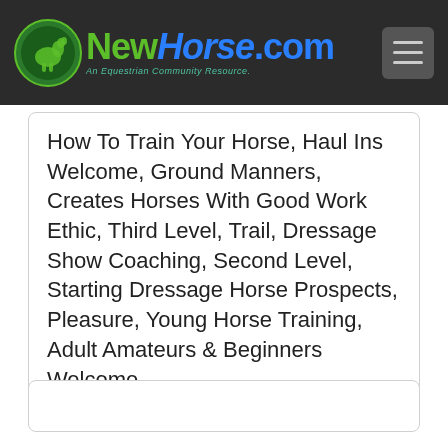NewHorse.com — An Equestrian Community Resource.
How To Train Your Horse, Haul Ins Welcome, Ground Manners, Creates Horses With Good Work Ethic, Third Level, Trail, Dressage Show Coaching, Second Level, Starting Dressage Horse Prospects, Pleasure, Young Horse Training, Adult Amateurs & Beginners Welcome
NewHorse.com is © Copyright Sudden Ventures, Inc. ( 0.095 secs on 09/06/22)
Privacy Policy | Accessibility Statement
Activate High Contrast Mode